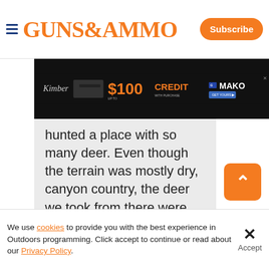GUNS&AMMO | Subscribe
[Figure (infographic): Kimber advertisement banner: $100 CREDIT with purchase, MAKO brand, get yours button]
hunted a place with so many deer. Even though the terrain was mostly dry, canyon country, the deer we took from there were very good eating. For the money, it was a pretty good deal. Unfortunately, the man who owned the property decided that too many deer had been
We use cookies to provide you with the best experience in Outdoors programming. Click accept to continue or read about our Privacy Policy.